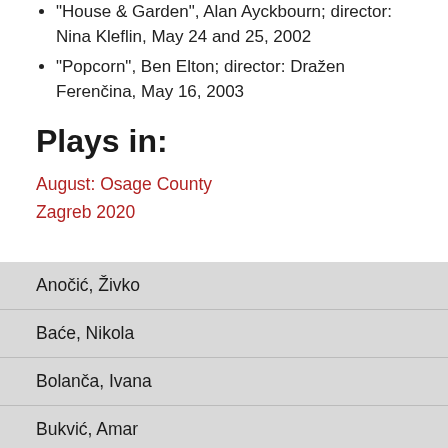"House & Garden", Alan Ayckbourn; director: Nina Kleflin, May 24 and 25, 2002
"Popcorn", Ben Elton; director: Dražen Ferenčina, May 16, 2003
Plays in:
August: Osage County
Zagreb 2020
| Anočić, Živko |
| Baće, Nikola |
| Bolanča, Ivana |
| Bukvić, Amar |
| Cvetko, Nenad |